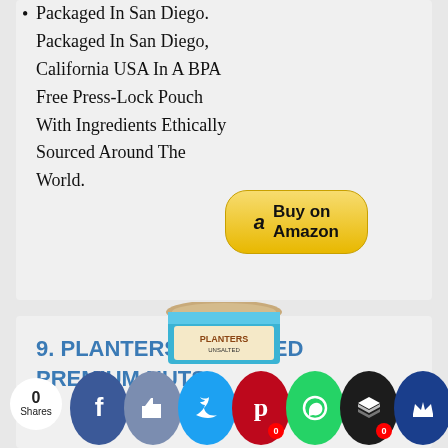Packaged In San Diego. Packaged In San Diego, California USA In A BPA Free Press-Lock Pouch With Ingredients Ethically Sourced Around The World.
[Figure (other): Buy on Amazon button with Amazon logo]
9. PLANTERS UNSALTED PREMIUM NUTS
[Figure (photo): Planters Unsalted Premium Nuts jar product image]
[Figure (other): Social sharing bar with share count (0 Shares) and icons: Facebook, Like, Twitter, Pinterest, WhatsApp, Layers/Buffer, Crown]